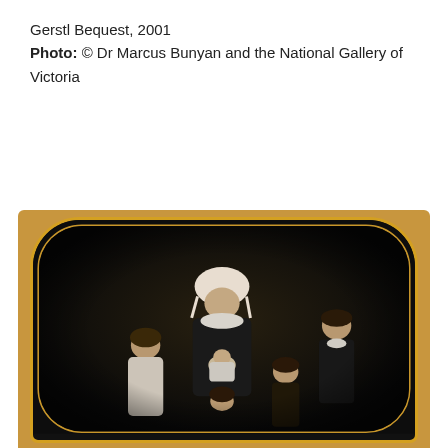Gerstl Bequest, 2001
Photo: © Dr Marcus Bunyan and the National Gallery of Victoria
[Figure (photo): A daguerreotype photograph in a wooden frame showing a woman wearing a bonnet seated centrally surrounded by several children. The image is framed with a rounded arch shape and appears to be a 19th century family portrait photograph. The frame is made of warm golden-brown wood.]